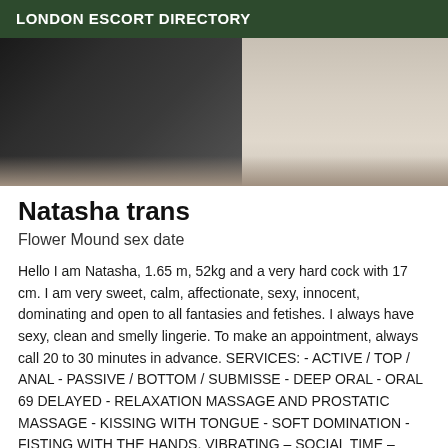LONDON ESCORT DIRECTORY
[Figure (photo): Cropped photo of person in dark clothing against light background]
Natasha trans
Flower Mound sex date
Hello I am Natasha, 1.65 m, 52kg and a very hard cock with 17 cm. I am very sweet, calm, affectionate, sexy, innocent, dominating and open to all fantasies and fetishes. I always have sexy, clean and smelly lingerie. To make an appointment, always call 20 to 30 minutes in advance. SERVICES: - ACTIVE / TOP / ANAL - PASSIVE / BOTTOM / SUBMISSE - DEEP ORAL - ORAL 69 DELAYED - RELAXATION MASSAGE AND PROSTATIC MASSAGE - KISSING WITH TONGUE - SOFT DOMINATION - FISTING WITH THE HANDS, VIBRATING - SOCIAL TIME - SHOWER BEFORE AND